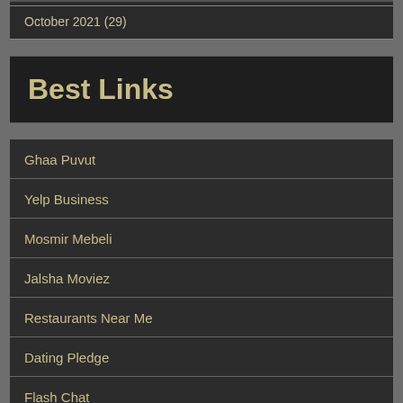October 2021 (29)
Best Links
Ghaa Puvut
Yelp Business
Mosmir Mebeli
Jalsha Moviez
Restaurants Near Me
Dating Pledge
Flash Chat